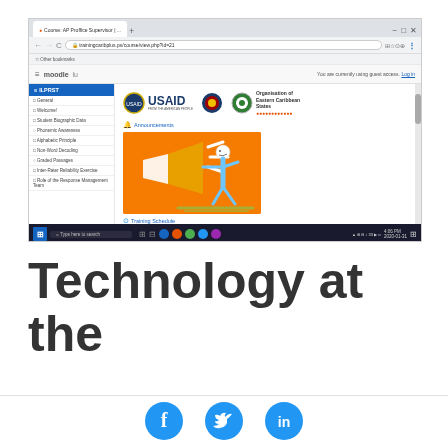[Figure (screenshot): Screenshot of a Moodle-based online training platform showing USAID and OECS logos, a course sidebar with items like General, Welcome!, Student Biographic Data, Phonemic Awareness, Alphabetic Principle, Non-Word Decoding, Graded Passages, Inter-Rater Reliability Exercise, Role of the Response Management Team, an Announcements section with an orange graphic of a cartoon figure with megaphone, and a Training Schedule link. The browser shows the URL trainingcaribplus.ps/course/view.php. The Windows taskbar is visible at the bottom.]
Technology at the
[Figure (illustration): Three circular social media share buttons: Facebook (f), Twitter (bird icon), and LinkedIn (in), all in blue.]